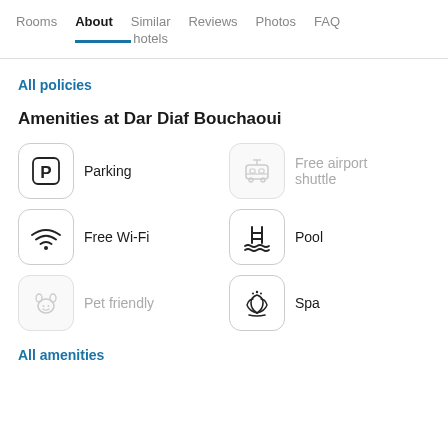Rooms  About  Similar hotels  Reviews  Photos  FAQ
All policies
Amenities at Dar Diaf Bouchaoui
Parking
Free airport shuttle
Free Wi-Fi
Pool
Pet friendly
Spa
All amenities